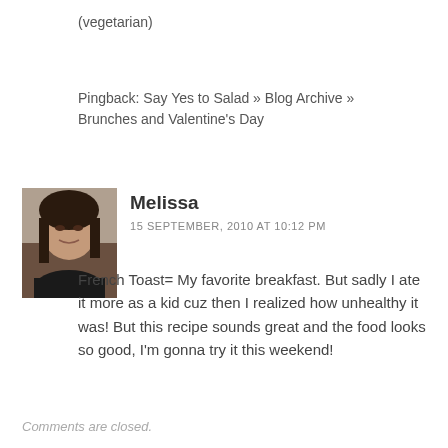(vegetarian)
Pingback: Say Yes to Salad » Blog Archive » Brunches and Valentine's Day
Melissa
15 SEPTEMBER, 2010 AT 10:12 PM
[Figure (photo): Avatar photo of Melissa, a young woman with dark hair]
French Toast= My favorite breakfast. But sadly I ate it more as a kid cuz then I realized how unhealthy it was! But this recipe sounds great and the food looks so good, I'm gonna try it this weekend!
Comments are closed.